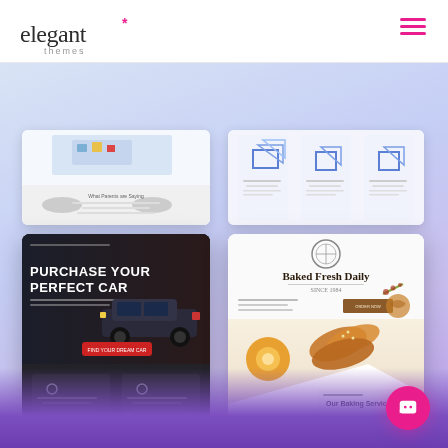[Figure (screenshot): Elegant Themes website header with logo on left and hamburger menu icon on right]
[Figure (screenshot): Top-left partially visible website screenshot showing a white/light blue design with text 'What Parents are Saying']
[Figure (screenshot): Top-right partially visible website screenshot showing blue geometric/box icons on white background]
[Figure (screenshot): Car dealership website screenshot with dark hero section showing 'PURCHASE YOUR PERFECT CAR' in white bold text over a black SUV, and bottom section with 'Leading Dealer in New & Used Cars']
[Figure (screenshot): Bakery website screenshot with white background showing 'Baked Fresh Daily' heading with bread/baked goods photos and 'Our Baking Services' section]